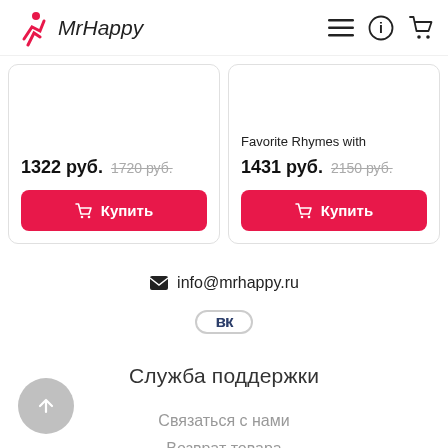MrHappy
1322 руб.  1720 руб.
Favorite Rhymes with
1431 руб.  2150 руб.
info@mrhappy.ru
[Figure (logo): VK social network icon button]
Служба поддержки
Связаться с нами
Возврат товара